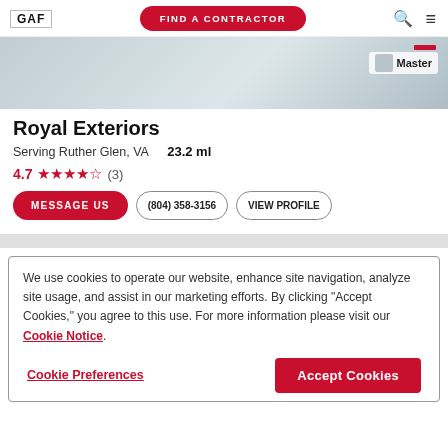GAF | FIND A CONTRACTOR
[Figure (photo): Hero image of roofing material (shingles) in grey tones with a Master Elite contractor badge in the upper right]
Royal Exteriors
Serving Ruther Glen, VA   23.2 ml
4.7 ★★★★½ (3)
MESSAGE US  (804) 358-3156  VIEW PROFILE
We use cookies to operate our website, enhance site navigation, analyze site usage, and assist in our marketing efforts. By clicking "Accept Cookies," you agree to this use. For more information please visit our Cookie Notice.
Cookie Preferences  |  Accept Cookies